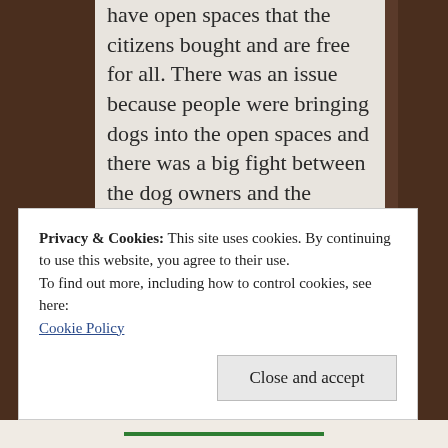have open spaces that the citizens bought and are free for all. There was an issue because people were bringing dogs into the open spaces and there was a big fight between the dog owners and the environmentalists who didn't want dogs up there. So after they fought they were brought together and all dogs going in the open spaces had to being able to come on a recall. They
Privacy & Cookies: This site uses cookies. By continuing to use this website, you agree to their use.
To find out more, including how to control cookies, see here: Cookie Policy
Close and accept